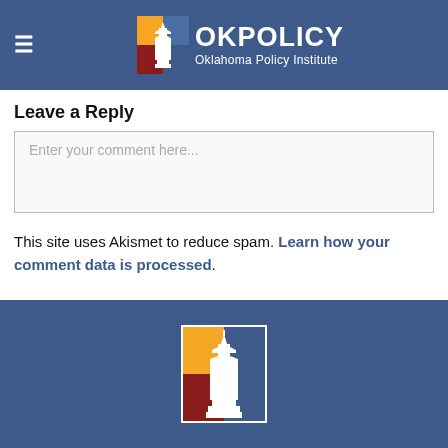OKPolicy Oklahoma Policy Institute
Leave a Reply
Enter your comment here...
This site uses Akismet to reduce spam. Learn how your comment data is processed.
[Figure (logo): OKPolicy logo icon showing capitol dome in orange, red, and blue squares]